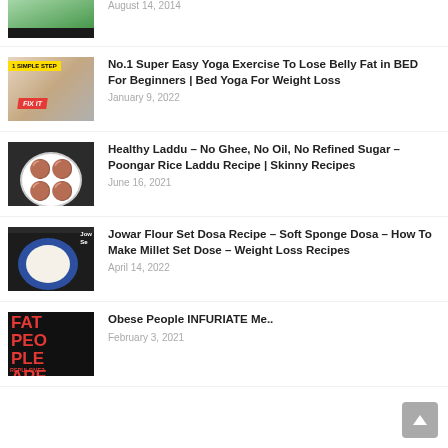[Figure (photo): Partial thumbnail of a food/health article, green limes visible, black bar at bottom]
August 14, 2014
[Figure (photo): Thumbnail showing yoga/fitness fix-it graphic with yellow banner '1 SIMPLE STEP' and red FIX IT badge]
No.1 Super Easy Yoga Exercise To Lose Belly Fat in BED For Beginners | Bed Yoga For Weight Loss
January 9, 2022
[Figure (photo): Thumbnail showing a bowl of dark brown laddus on dark background]
Healthy Laddu – No Ghee, No Oil, No Refined Sugar – Poongar Rice Laddu Recipe | Skinny Recipes
June 16, 2021
[Figure (photo): Thumbnail showing jowar dosa on blue plate with label 'Jowar Se']
Jowar Flour Set Dosa Recipe – Soft Sponge Dosa – How To Make Millet Set Dose – Weight Loss Recipes
April 14, 2022
[Figure (photo): Thumbnail with text 'FAT PEOPLE ARE REPULSIVE?' in red on dark background]
Obese People INFURIATE Me..
February 3, 2021